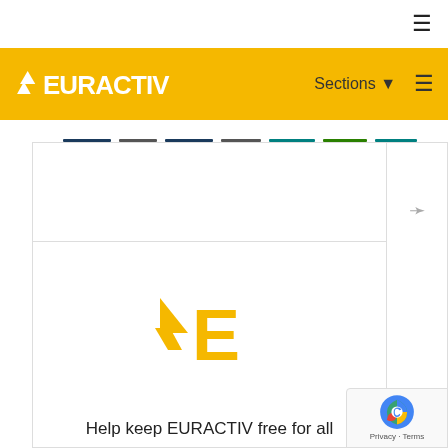≡ (hamburger menu)
[Figure (logo): EURACTIV logo in white on yellow background with navigation sections and hamburger menu]
[Figure (logo): EURACTIV large yellow icon (stylized arrow and E)]
Help keep EURACTIV free for all
This is not a paywall.
Everyone should have access to independent high quality European reporting.